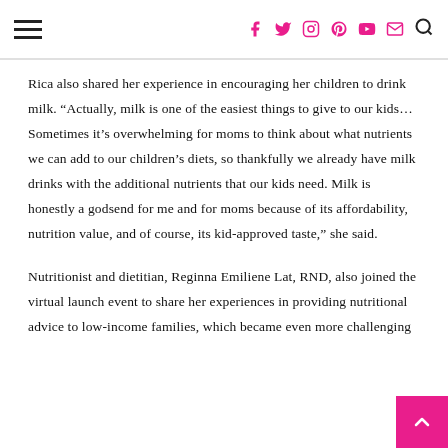Navigation and social icons header
Rica also shared her experience in encouraging her children to drink milk. “Actually, milk is one of the easiest things to give to our kids…Sometimes it’s overwhelming for moms to think about what nutrients we can add to our children’s diets, so thankfully we already have milk drinks with the additional nutrients that our kids need. Milk is honestly a godsend for me and for moms because of its affordability, nutrition value, and of course, its kid-approved taste,” she said.
Nutritionist and dietitian, Reginna Emiliene Lat, RND, also joined the virtual launch event to share her experiences in providing nutritional advice to low-income families, which became even more challenging